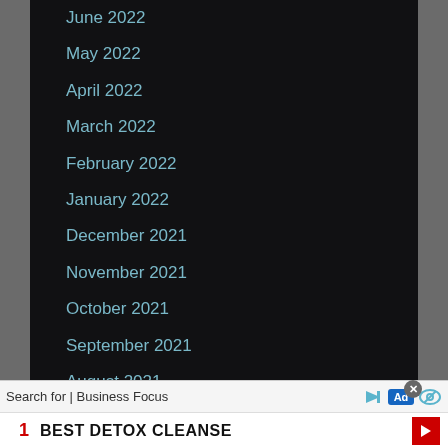June 2022
May 2022
April 2022
March 2022
February 2022
January 2022
December 2021
November 2021
October 2021
September 2021
August 2021
July 2021
June 2021
May 2021
Search for | Business Focus
1  BEST DETOX CLEANSE